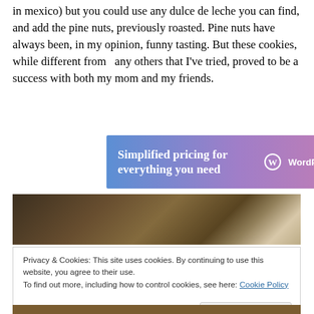in mexico) but you could use any dulce de leche you can find, and add the pine nuts, previously roasted. Pine nuts have always been, in my opinion, funny tasting. But these cookies, while different from  any others that I've tried, proved to be a success with both my mom and my friends.
[Figure (screenshot): WordPress.com advertisement banner: 'Simplified pricing for everything you need' with WordPress.com logo on a blue-purple gradient background]
[Figure (photo): Close-up photo of cookies, showing golden-brown baked texture]
Privacy & Cookies: This site uses cookies. By continuing to use this website, you agree to their use.
To find out more, including how to control cookies, see here: Cookie Policy
[Close and accept button]